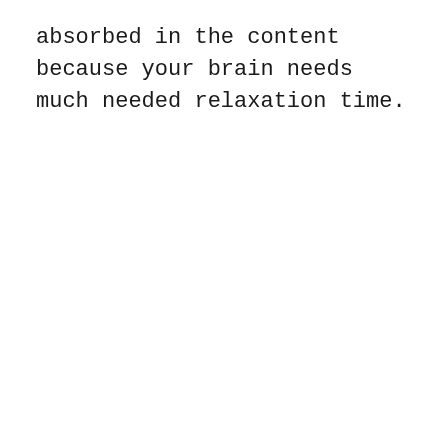absorbed in the content because your brain needs much needed relaxation time.